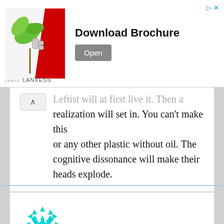[Figure (illustration): LANXESS advertisement banner with plant and robotic hand image. Shows 'Download Brochure' text and 'Open' button.]
Leftist will at first love it. Then a realization will set in. You can't make this or any other plastic without oil. The cognitive dissonance will make their heads explode.
[Figure (illustration): Cyan/turquoise geometric avatar icon made of diamond and triangle shapes in a snowflake-like pattern.]
Fred McMurray | February 4, 2022 at 12:33 pm | Reply
Can we just once please assure that this